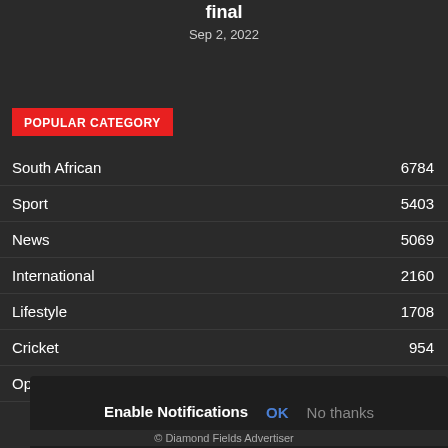final
Sep 2, 2022
POPULAR CATEGORY
South African 6784
Sport 5403
News 5069
International 2160
Lifestyle 1708
Cricket 954
Opinion and Features 782
Enable Notifications  OK  No thanks
© Diamond Fields Advertiser